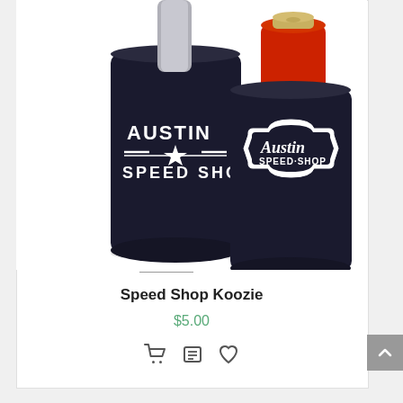[Figure (photo): Two black neoprene koozies (can coolers) with Austin Speed Shop branding. The left koozie shows 'AUSTIN SPEED SHOP' in bold white block letters with a star design. The right koozie shows 'Austin Speed Shop' in a cursive style logo inside a decorative badge shape. A red beverage can is visible at the top of the right koozie.]
Speed Shop Koozie
$5.00